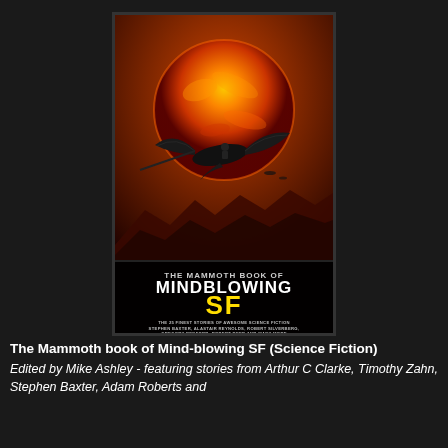[Figure (illustration): Book cover of 'The Mammoth Book of Mindblowing SF'. Features a dramatic science fiction scene with a large orange sun in the background, a silhouetted flying creature/spacecraft in the middle, dark mountains below, and the book title in large yellow letters. Text on cover reads: 'THE MAMMOTH BOOK OF MINDBLOWING SF', 'THE 25 FINEST STORIES OF AWESOME SCIENCE FICTION STEPHEN BAXTER, ALASTAIR REYNOLDS, ROBERT SILVERBERG, GREGORY BENFORD, ROBERT REED AND MANY MORE', 'EDITED BY MIKE ASHLEY'.]
The Mammoth book of Mind-blowing SF (Science Fiction)
Edited by Mike Ashley - featuring stories from Arthur C Clarke, Timothy Zahn, Stephen Baxter, Adam Roberts and